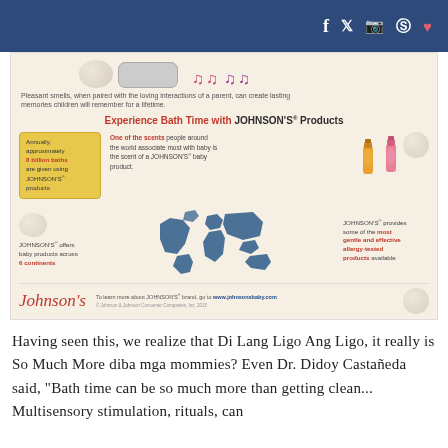Social media icons: f (Facebook), Twitter, Instagram, Pinterest, Bloglovin
[Figure (infographic): Johnson's baby products infographic showing bath time facts: 8 billion baths annually, scent association, 6 continents coverage, most gentle and effective allergy-tested products. Includes world map graphic and Johnson's logo.]
Having seen this, we realize that Di Lang Ligo Ang Ligo, it really is So Much More diba mga mommies? Even Dr. Didoy Castañeda said, "Bath time can be so much more than getting clean... Multisensory stimulation, rituals, can